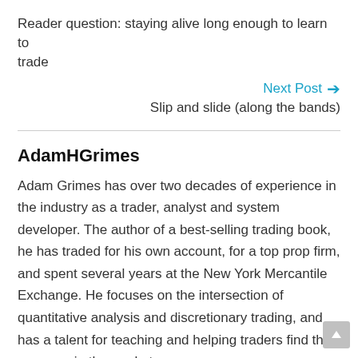Reader question: staying alive long enough to learn to trade
Next Post → Slip and slide (along the bands)
AdamHGrimes
Adam Grimes has over two decades of experience in the industry as a trader, analyst and system developer. The author of a best-selling trading book, he has traded for his own account, for a top prop firm, and spent several years at the New York Mercantile Exchange. He focuses on the intersection of quantitative analysis and discretionary trading, and has a talent for teaching and helping traders find their own way in the market.